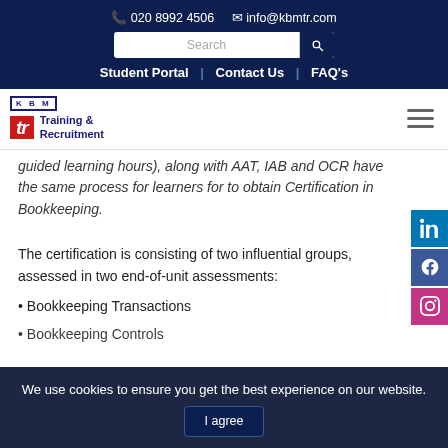020 8992 4506  info@kbmtr.com
Student Portal | Contact Us | FAQ's
guided learning hours), along with AAT, IAB and OCR have the same process for learners for to obtain Certification in Bookkeeping.
The certification is consisting of two influential groups, assessed in two end-of-unit assessments:
Bookkeeping Transactions
Bookkeeping Controls
We use cookies to ensure you get the best experience on our website.